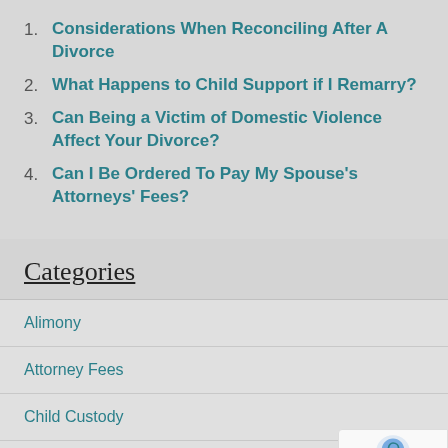1. Considerations When Reconciling After A Divorce
2. What Happens to Child Support if I Remarry?
3. Can Being a Victim of Domestic Violence Affect Your Divorce?
4. Can I Be Ordered To Pay My Spouse's Attorneys' Fees?
Categories
Alimony
Attorney Fees
Child Custody
Child Support